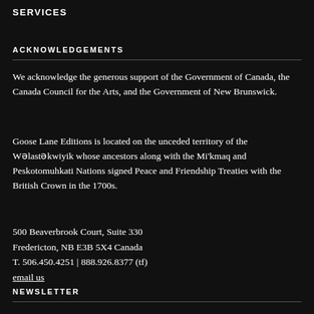SERVICES
ACKNOWLEDGEMENTS
We acknowledge the generous support of the Government of Canada, the Canada Council for the Arts, and the Government of New Brunswick.
Goose Lane Editions is located on the unceded territory of the Wəlastəkwiyik whose ancestors along with the Mi'kmaq and Peskotomuhkati Nations signed Peace and Friendship Treaties with the British Crown in the 1700s.
500 Beaverbrook Court, Suite 330
Fredericton, NB E3B 5X4 Canada
T. 506.450.4251 | 888.926.8377 (tf)
email us
NEWSLETTER